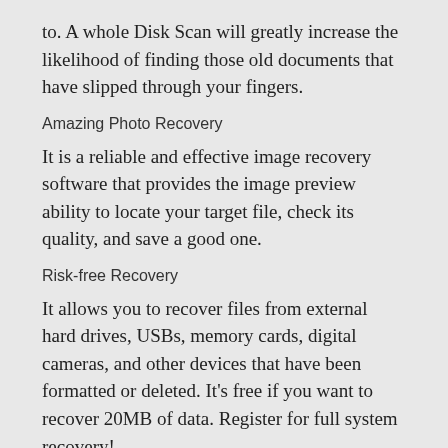to. A whole Disk Scan will greatly increase the likelihood of finding those old documents that have slipped through your fingers.
Amazing Photo Recovery
It is a reliable and effective image recovery software that provides the image preview ability to locate your target file, check its quality, and save a good one.
Risk-free Recovery
It allows you to recover files from external hard drives, USBs, memory cards, digital cameras, and other devices that have been formatted or deleted. It's free if you want to recover 20MB of data. Register for full system recovery!
Office Documents Preview